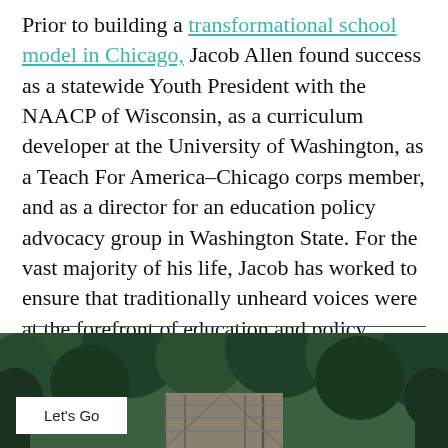Prior to building a transformational school model in Chicago, Jacob Allen found success as a statewide Youth President with the NAACP of Wisconsin, as a curriculum developer at the University of Washington, as a Teach For America–Chicago corps member, and as a director for an education policy advocacy group in Washington State. For the vast majority of his life, Jacob has worked to ensure that traditionally unheard voices were at the forefront of education and policy.
[Figure (photo): Photograph of a wooden bridge or walkway surrounded by dense green trees and forest, with an overlay banner. The banner reads 'Check out our Causeartist Partners & Supporters' with a 'Let's Go' button and a close (×) button.]